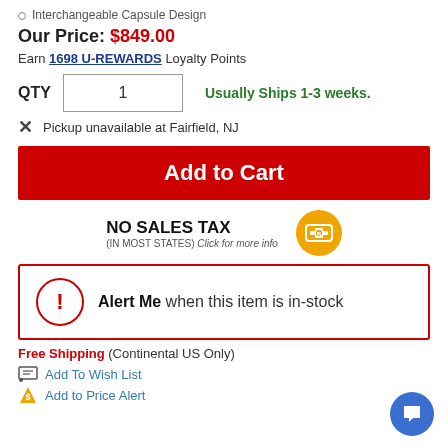Interchangeable Capsule Design
Our Price: $849.00
Earn 1698 U-REWARDS Loyalty Points
QTY  1    Usually Ships 1-3 weeks.
X  Pickup unavailable at Fairfield, NJ
Add to Cart
NO SALES TAX (IN MOST STATES) Click for more info
Alert Me when this item is in-stock
Free Shipping (Continental US Only)
Add To Wish List
Add to Price Alert